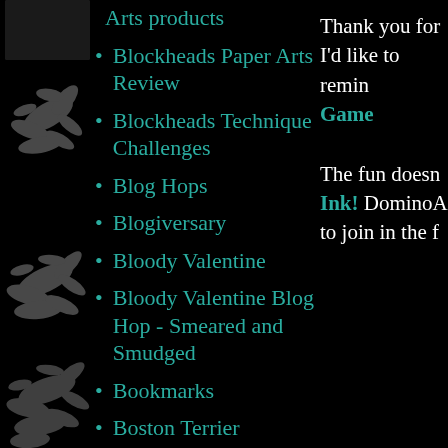Arts products
Blockheads Paper Arts Review
Blockheads Technique Challenges
Blog Hops
Blogiversary
Bloody Valentine
Bloody Valentine Blog Hop - Smeared and Smudged
Bookmarks
Boston Terrier
Thank you for I'd like to remin Game The fun doesn Ink! DominoA to join in the f